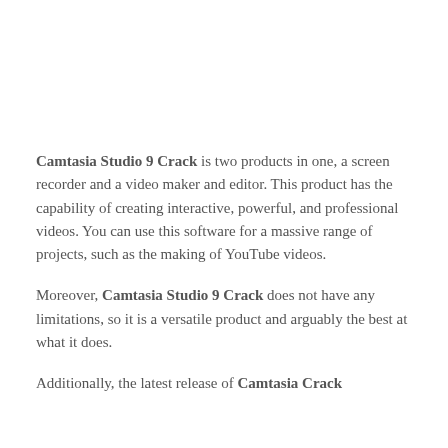Camtasia Studio 9 Crack is two products in one, a screen recorder and a video maker and editor. This product has the capability of creating interactive, powerful, and professional videos. You can use this software for a massive range of projects, such as the making of YouTube videos.
Moreover, Camtasia Studio 9 Crack does not have any limitations, so it is a versatile product and arguably the best at what it does.
Additionally, the latest release of Camtasia Crack